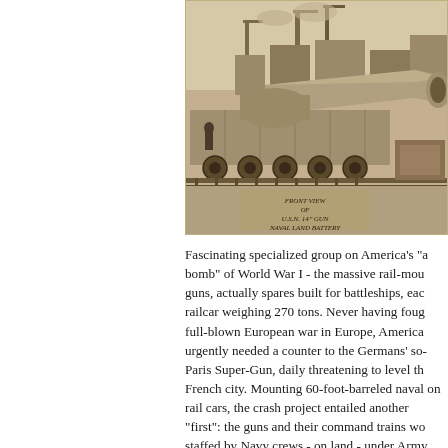[Figure (photo): Sepia-toned historical photograph showing front view of U.S.N. 14-inch gun Naval Land Battery mounted on a railcar. Handwritten caption visible in lower portion reads 'FRONT VIEW OF U.S.N. 14 GUN NAVAL LAND BATTERY'. Large gun barrel extends toward viewer with industrial port/shipyard background.]
Fascinating specialized group on America's "atomic bomb" of World War I - the massive rail-mounted guns, actually spares built for battleships, each railcar weighing 270 tons. Never having fought a full-blown European war in Europe, America urgently needed a counter to the Germans' so-called Paris Super-Gun, daily threatening to level the French city. Mounting 60-foot-barreled naval guns on rail cars, the crash project entailed another "first": the guns and their command trains would be staffed by Navy crews - on land - under Army control. In all, the rail guns fired over 700 shells, hitting German-held rail yards and positions up to 22 miles away. One of the guns fired the last